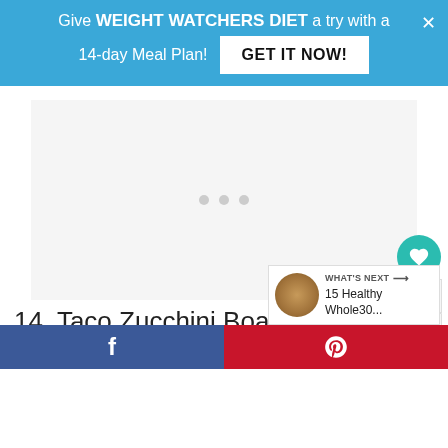Give WEIGHT WATCHERS DIET a try with a 14-day Meal Plan! GET IT NOW!
[Figure (other): Ad placeholder with three dots indicator]
14. Taco Zucchini Boats
Turn your ordinary zucchini into tasty taco
[Figure (other): What's Next widget showing 15 Healthy Whole30...]
Facebook share button | Pinterest share button